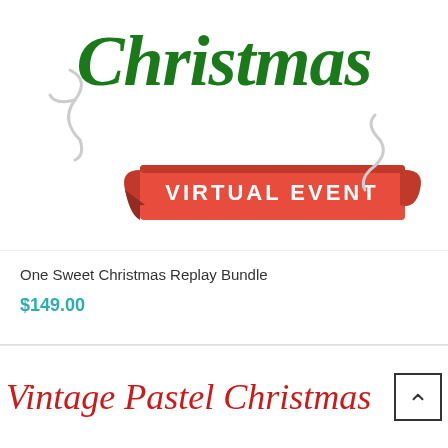[Figure (illustration): Christmas Virtual Event graphic with green cursive 'Christmas' text and a red ribbon banner reading 'VIRTUAL EVENT' in white capital letters, with decorative white swirl elements on a white background]
One Sweet Christmas Replay Bundle
$149.00
Vintage Pastel Christmas